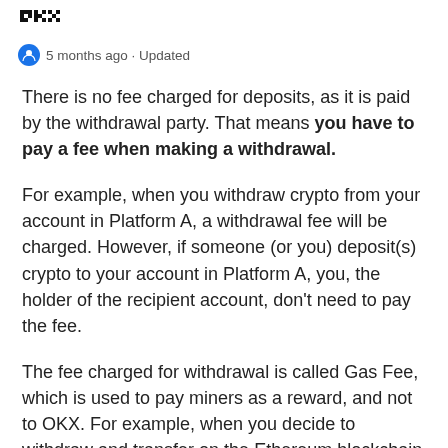OKX logo | 5 months ago · Updated
There is no fee charged for deposits, as it is paid by the withdrawal party. That means you have to pay a fee when making a withdrawal.
For example, when you withdraw crypto from your account in Platform A, a withdrawal fee will be charged. However, if someone (or you) deposit(s) crypto to your account in Platform A, you, the holder of the recipient account, don't need to pay the fee.
The fee charged for withdrawal is called Gas Fee, which is used to pay miners as a reward, and not to OKX. For example, when you decide to withdraw and transfer on the Ethereum blockchain and submit the withdrawal request on OKX, miners will pack your transaction into the block and put it on the chain to complete the transaction. Since each